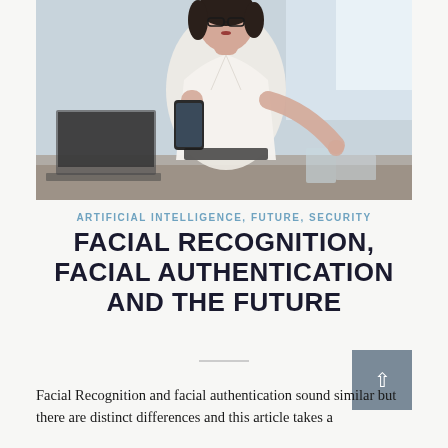[Figure (photo): A professional woman wearing glasses and a white wrap blouse, looking at a smartphone while standing at a desk with a laptop and other items in a bright office environment.]
ARTIFICIAL INTELLIGENCE, FUTURE, SECURITY
FACIAL RECOGNITION, FACIAL AUTHENTICATION AND THE FUTURE
Facial Recognition and facial authentication sound similar but there are distinct differences and this article takes a